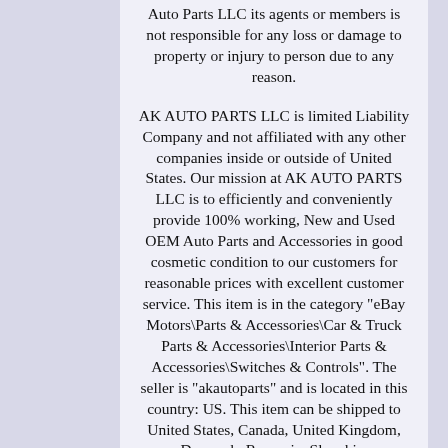Auto Parts LLC its agents or members is not responsible for any loss or damage to property or injury to person due to any reason.
AK AUTO PARTS LLC is limited Liability Company and not affiliated with any other companies inside or outside of United States. Our mission at AK AUTO PARTS LLC is to efficiently and conveniently provide 100% working, New and Used OEM Auto Parts and Accessories in good cosmetic condition to our customers for reasonable prices with excellent customer service. This item is in the category "eBay Motors\Parts & Accessories\Car & Truck Parts & Accessories\Interior Parts & Accessories\Switches & Controls". The seller is "akautoparts" and is located in this country: US. This item can be shipped to United States, Canada, United Kingdom, Denmark, Romania, Slovakia,